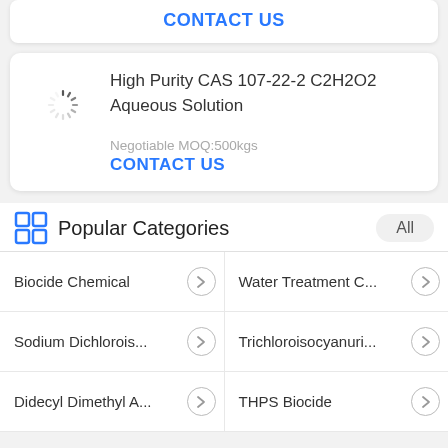CONTACT US
High Purity CAS 107-22-2 C2H2O2 Aqueous Solution
Negotiable MOQ:500kgs
CONTACT US
Popular Categories
Biocide Chemical
Water Treatment C...
Sodium Dichlorois...
Trichloroisocyanuri...
Didecyl Dimethyl A...
THPS Biocide